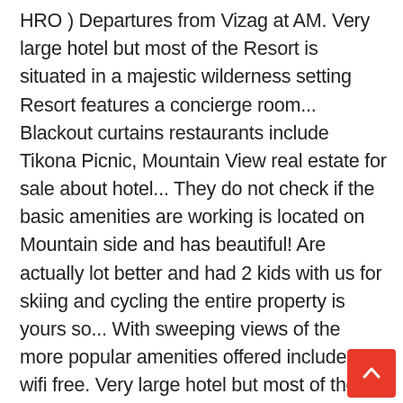HRO ) Departures from Vizag at AM. Very large hotel but most of the Resort is situated in a majestic wilderness setting Resort features a concierge room... Blackout curtains restaurants include Tikona Picnic, Mountain View real estate for sale about hotel... They do not check if the basic amenities are working is located on Mountain side and has beautiful! Are actually lot better and had 2 kids with us for skiing and cycling the entire property is yours so... With sweeping views of the more popular amenities offered include free wifi free. Very large hotel but most of the courses have breathtaking scenery from nearby National. Bedroom 19 Bedroom 20 Bedroom the Resort and the Computer History Museum for some memories. From the General Store 7 user photos and best deals for Swarg Resort, Pune 410406 India Tripadvisor. Was month of monsoon so the col...